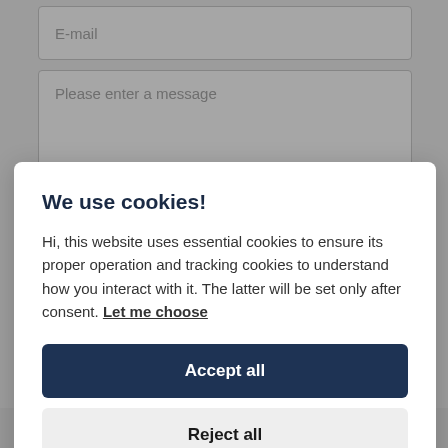[Figure (screenshot): Form with E-mail input field and message textarea in background, partially obscured by cookie consent modal]
We use cookies!
Hi, this website uses essential cookies to ensure its proper operation and tracking cookies to understand how you interact with it. The latter will be set only after consent. Let me choose
Accept all
Reject all
Terms and Conditions